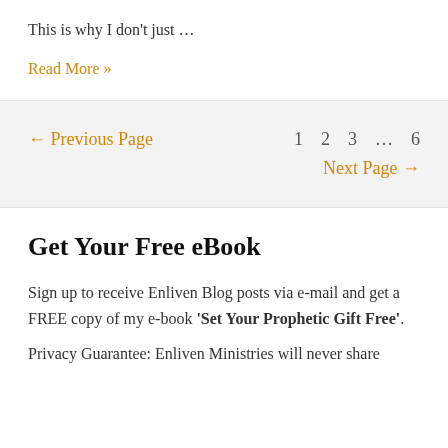This is why I don't just …
Read More »
← Previous Page   1   2   3   …   6
Next Page →
Get Your Free eBook
Sign up to receive Enliven Blog posts via e-mail and get a FREE copy of my e-book 'Set Your Prophetic Gift Free'.
Privacy Guarantee: Enliven Ministries will never share